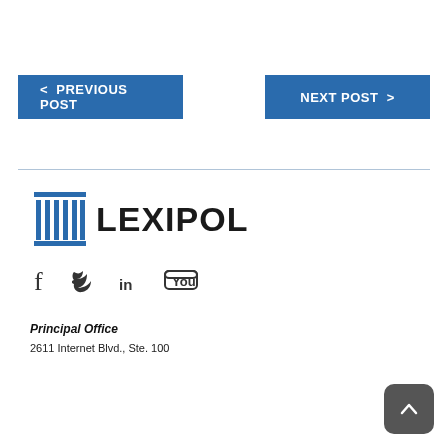[Figure (other): Navigation buttons: PREVIOUS POST and NEXT POST]
[Figure (logo): Lexipol logo with pillar icon and LEXIPOL text]
[Figure (other): Social media icons: Facebook, Twitter, LinkedIn, YouTube]
Principal Office
2611 Internet Blvd., Ste. 100